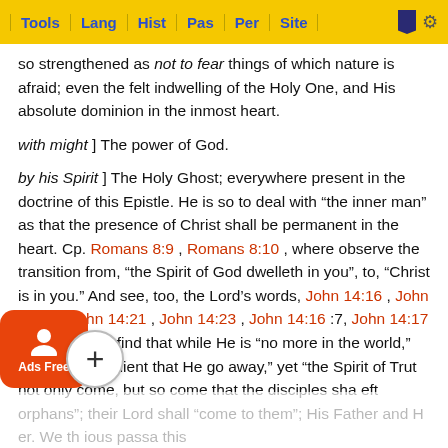Tools | Lang | Hist | Pas | Per | Site
so strengthened as not to fear things of which nature is afraid; even the felt indwelling of the Holy One, and His absolute dominion in the inmost heart.
with might ] The power of God.
by his Spirit ] The Holy Ghost; everywhere present in the doctrine of this Epistle. He is so to deal with “the inner man” as that the presence of Christ shall be permanent in the heart. Cp. Romans 8:9 , Romans 8:10 , where observe the transition from, “the Spirit of God dwelleth in you”, to, “Christ is in you.” And see, too, the Lord’s words, John 14:16 , John 14:18 , John 14:21 , John 14:23 , John 14:16 :7, John 14:17 :11. There we find that while He is “no more in the world,” and it is “expedient that He go away,” yet “the Spirit of Truth” not only come, but so come that the disciples shal... left orphans”; their Lord shall “come to them”; His Father and H... er. We th... ious passa... this